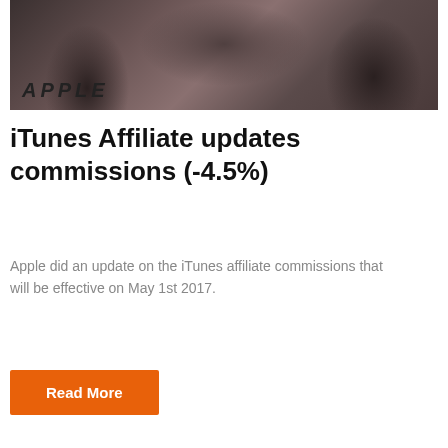[Figure (photo): Black and white photo of people working with vintage computer equipment; 'APPLE' text visible in the lower left corner of the image]
iTunes Affiliate updates commissions (-4.5%)
Apple did an update on the iTunes affiliate commissions that will be effective on May 1st 2017.
Read More